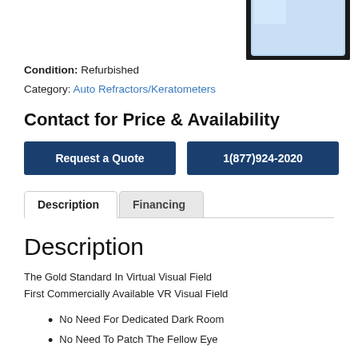[Figure (photo): Partial image of a medical device (tablet-like) shown in the top-right corner]
Condition: Refurbished
Category: Auto Refractors/Keratometers
Contact for Price & Availability
Request a Quote
1(877)924-2020
Description
Financing
Description
The Gold Standard In Virtual Visual Field
First Commercially Available VR Visual Field
No Need For Dedicated Dark Room
No Need To Patch The Fellow Eye